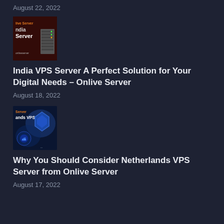August 22, 2022
[Figure (photo): India Server thumbnail image with dark red background showing server rack and text 'Onlive Server India Server']
India VPS Server A Perfect Solution for Your Digital Needs – Onlive Server
August 18, 2022
[Figure (photo): Netherlands VPS thumbnail image with blue background showing network/cloud icons and text 'Onlive Server Netherlands VPS']
Why You Should Consider Netherlands VPS Server from Onlive Server
August 17, 2022